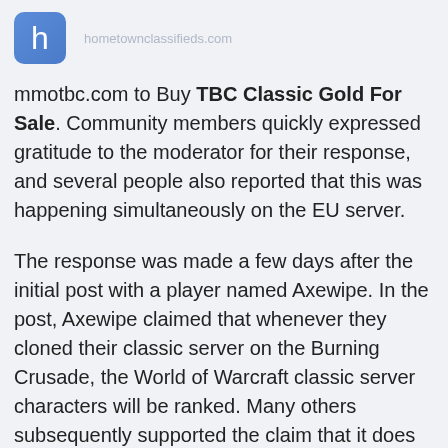h [logo] [header text faded]
mmotbc.com to Buy TBC Classic Gold For Sale. Community members quickly expressed gratitude to the moderator for their response, and several people also reported that this was happening simultaneously on the EU server.
The response was made a few days after the initial post with a player named Axewipe. In the post, Axewipe claimed that whenever they cloned their classic server on the Burning Crusade, the World of Warcraft classic server characters will be ranked. Many others subsequently supported the claim that it does not work.
After a week of inspection, the classic server